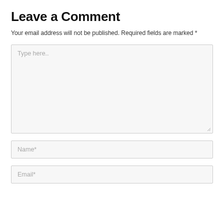Leave a Comment
Your email address will not be published. Required fields are marked *
[Figure (other): Large text area input field with placeholder text 'Type here..' and a resize handle in the bottom right corner]
[Figure (other): Single-line text input field with placeholder text 'Name*']
[Figure (other): Single-line text input field with placeholder text 'Email*']